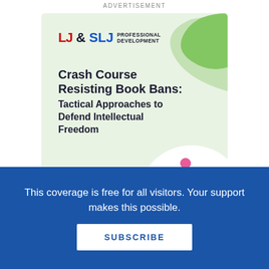ADVERTISEMENT
[Figure (illustration): LJ&SLJ Professional Development advertisement banner with green wave background, colorful people-circle icon, and course details for 'Crash Course Resisting Book Bans: Tactical Approaches to Defend Intellectual Freedom', Online Workshop December 6]
Crash Course Resisting Book Bans: Tactical Approaches to Defend Intellectual Freedom
Online Workshop | December 6
This coverage is free for all visitors. Your support makes this possible.
SUBSCRIBE